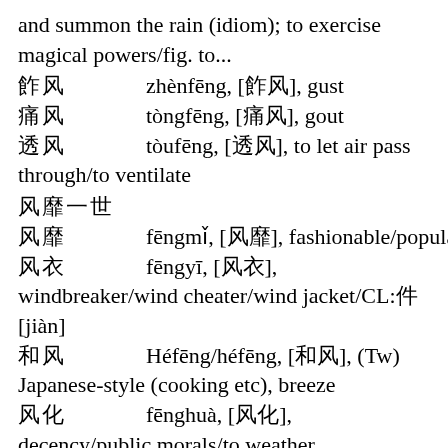and summon the rain (idiom); to exercise magical powers/fig. to...
阵风　zhènfēng, [阵风], gust
痛风　tòngfēng, [痛风], gout
透风　tòufēng, [透风], to let air pass through/to ventilate
风靡一世　fēngmǐ, [风靡], fashionable/popular
风衣　fēngyī, [风衣], windbreaker/wind cheater/wind jacket/CL:件[jiàn]
和风　Héfēng/héfēng, [和风], (Tw) Japanese-style (cooking etc), breeze
风化　fēnghuà, [风化], decency/public morals/to weather (rocks)/wind erosion
捕风捉影　bǔfēngzhuōyǐng, [捕风捉影], lit. chasing the wind and clutching at shadows (idiom); fig. groundless accusati...